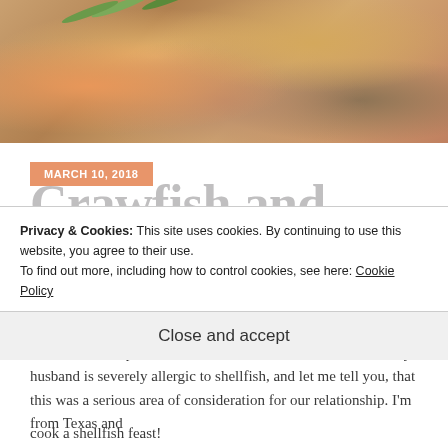[Figure (photo): Food photo showing a plate of crawfish and shrimp pasta dish with green herbs, mushrooms, and orzo or similar pasta in a creamy sauce, viewed from above on a white plate.]
MARCH 10, 2018
Crawfish and Shrimp Dauphine
So, I love shrimp and crawfish…like LOVE LOVE LOVE. My husband is severely allergic to shellfish, and let me tell you, that this was a serious area of consideration for our relationship. I'm from Texas and
Privacy & Cookies: This site uses cookies. By continuing to use this website, you agree to their use.
To find out more, including how to control cookies, see here: Cookie Policy
Close and accept
cook a shellfish feast!